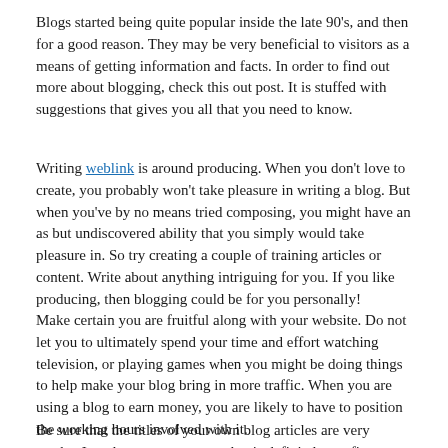Blogs started being quite popular inside the late 90's, and then for a good reason. They may be very beneficial to visitors as a means of getting information and facts. In order to find out more about blogging, check this out post. It is stuffed with suggestions that gives you all that you need to know.
Writing weblink is around producing. When you don't love to create, you probably won't take pleasure in writing a blog. But when you've by no means tried composing, you might have an as but undiscovered ability that you simply would take pleasure in. So try creating a couple of training articles or content. Write about anything intriguing for you. If you like producing, then blogging could be for you personally!
Make certain you are fruitful along with your website. Do not let you to ultimately spend your time and effort watching television, or playing games when you might be doing things to help make your blog bring in more traffic. When you are using a blog to earn money, you are likely to have to position the working hours involved with it.
Be sure that the titles of your own blog articles are very catchy. I readers encounter text that is definitely not first rate, and they